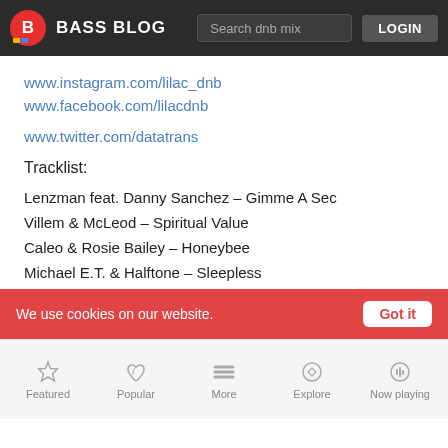BASS BLOG | Search dnb mix | LOGIN
www.instagram.com/lilac_dnb
www.facebook.com/lilacdnb
www.twitter.com/datatrans
Tracklist:
Lenzman feat. Danny Sanchez – Gimme A Sec
Villem & McLeod – Spiritual Value
Caleo & Rosie Bailey – Honeybee
Michael E.T. & Halftone – Sleepless
We use cookies on our website.
Featured | Popular | More | Explore | Now playing